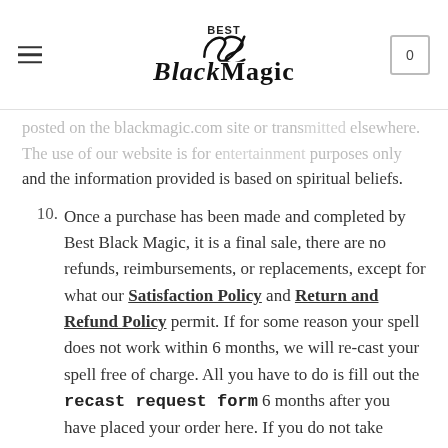Best Black Magic
posted on the blackmagic.com site or transmitted elsewhere. The use of our website is for entertainment purposes only and the information provided is based on spiritual beliefs.
10. Once a purchase has been made and completed by Best Black Magic, it is a final sale, there are no refunds, reimbursements, or replacements, except for what our Satisfaction Policy and Return and Refund Policy permit. If for some reason your spell does not work within 6 months, we will re-cast your spell free of charge. All you have to do is fill out the recast request form 6 months after you have placed your order here. If you do not take advantage of the free re-cast, you qualify for a refund after 12 months. You must request a refund within 10 days of your one-year order